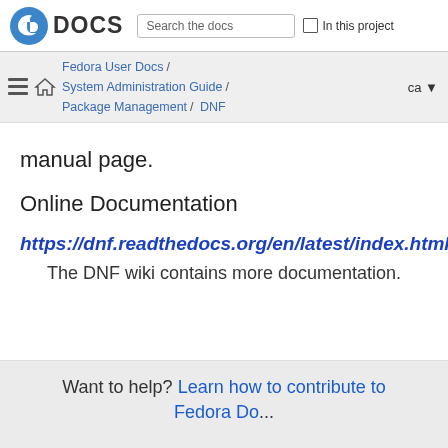Fedora DOCS | Search the docs | In this project
Fedora User Docs / System Administration Guide / Package Management / DNF | ca
manual page.
Online Documentation
https://dnf.readthedocs.org/en/latest/index.html
The DNF wiki contains more documentation.
Want to help? Learn how to contribute to Fedora Do...